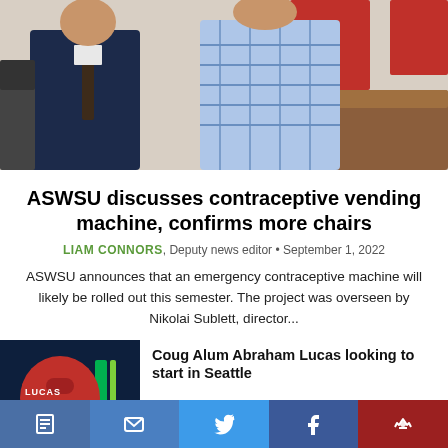[Figure (photo): Two men standing in an office setting — one wearing a dark navy suit with a tie, the other in a blue plaid shirt. A wooden podium and red wall panels are visible in the background.]
ASWSU discusses contraceptive vending machine, confirms more chairs
LIAM CONNORS, Deputy news editor • September 1, 2022
ASWSU announces that an emergency contraceptive machine will likely be rolled out this semester. The project was overseen by Nikolai Sublett, director...
[Figure (photo): Soccer jersey thumbnail — red jersey with number 72 and name LUCAS on a dark navy background with teal accents, Seattle Sounders related.]
Coug Alum Abraham Lucas looking to start in Seattle
September 1, 2022